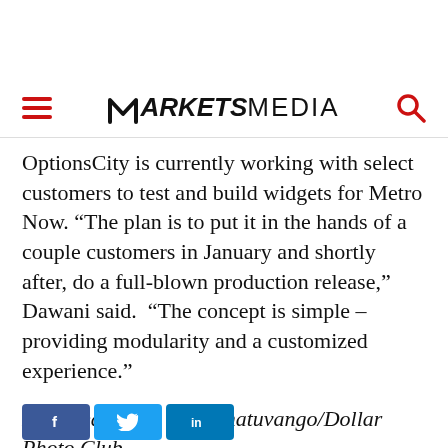MARKETS MEDIA
OptionsCity is currently working with select customers to test and build widgets for Metro Now. “The plan is to put it in the hands of a couple customers in January and shortly after, do a full-blown production release,” Dawani said. “The concept is simple – providing modularity and a customized experience.”
Featured image via tashatuvango/Dollar Photo Club